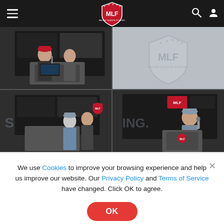[Figure (screenshot): MLF (Major League Fishing) website navigation bar with hamburger menu, MLF shield logo, search and user icons on dark background]
[Figure (photo): Grid of four photos: top-left shows two people at a podium with MLF branding and microphone; top-right shows MLF shield logo placeholder on gray background; bottom-left shows a person at stage with MLF branding and 'SHING.' text visible; bottom-right shows a person speaking at MLF podium with microphone]
We use Cookies to improve your browsing experience and help us improve our website. Our Privacy Policy and Terms of Service have changed. Click OK to agree.
[Figure (infographic): Red circular OK button]
[Figure (logo): Power-Pole advertisement banner with logo and Learn More button on black background]